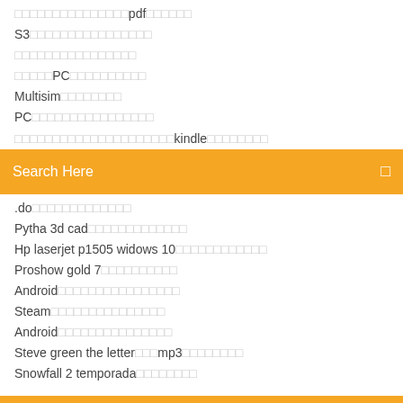□□□□□□□□□□□□□□□pdf□□□□□□
S3□□□□□□□□□□□□□□□□
□□□□□□□□□□□□□□□□
□□□□□PC□□□□□□□□□□
Multisim□□□□□□□□
PC□□□□□□□□□□□□□□□□
□□□□□□□□□□□□□□□□□□□□□kindle□□□□□□□□
Search Here
.do□□□□□□□□□□□□□
Pytha 3d cad□□□□□□□□□□□□□
Hp laserjet p1505 widows 10□□□□□□□□□□□□
Proshow gold 7□□□□□□□□□□
Android□□□□□□□□□□□□□□□□
Steam□□□□□□□□□□□□□□□
Android□□□□□□□□□□□□□□□
Steve green the letter□□□mp3□□□□□□□□
Snowfall 2 temporada□□□□□□□□